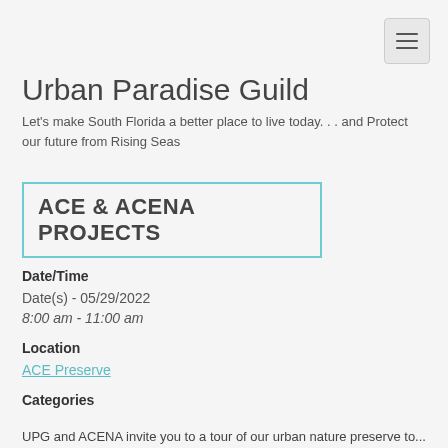[Figure (other): Hamburger menu button (three horizontal lines) in a rounded gray box, positioned top right]
Urban Paradise Guild
Let's make South Florida a better place to live today... and Protect our future from Rising Seas
ACE & ACENA PROJECTS
Date/Time
Date(s) - 05/29/2022
8:00 am - 11:00 am
Location
ACE Preserve
Categories
UPG and ACENA invite you to a tour of our urban nature preserve to...